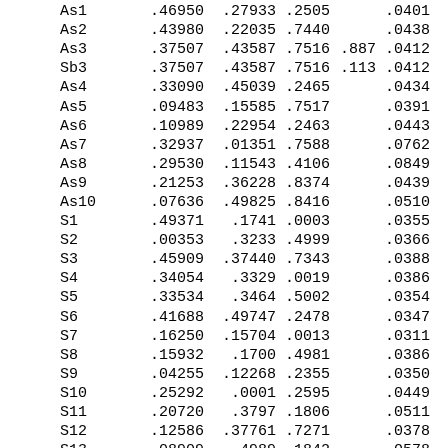| As1 | .46950 | .27933 | .2505 |  | .0401 |
| As2 | .43980 | .22035 | .7440 |  | .0438 |
| As3 | .37507 | .43587 | .7516 | .887 | .0412 |
| Sb3 | .37507 | .43587 | .7516 | .113 | .0412 |
| As4 | .33090 | .45039 | .2465 |  | .0434 |
| As5 | .09483 | .15585 | .7517 |  | .0391 |
| As6 | .10989 | .22954 | .2463 |  | .0443 |
| As7 | .32937 | .01351 | .7588 |  | .0762 |
| As8 | .29530 | .11543 | .4106 |  | .0849 |
| As9 | .21253 | .36228 | .8374 |  | .0439 |
| As10 | .07636 | .49825 | .8416 |  | .0510 |
| S1 | .49371 | .1741 | .0003 |  | .0355 |
| S2 | .00353 | .3233 | .4999 |  | .0366 |
| S3 | .45909 | .37440 | .7343 |  | .0388 |
| S4 | .34054 | .3329 | .0019 |  | .0386 |
| S5 | .33534 | .3464 | .5002 |  | .0354 |
| S6 | .41688 | .49747 | .2478 |  | .0347 |
| S7 | .16250 | .15704 | .0013 |  | .0311 |
| S8 | .15932 | .1700 | .4981 |  | .0386 |
| S9 | .04255 | .12268 | .2355 |  | .0350 |
| S10 | .25292 | .0001 | .2595 |  | .0449 |
| S11 | .20720 | .3797 | .1806 |  | .0511 |
| S12 | .12586 | .37761 | .7271 |  | .0378 |
| S13 | .08909 | .4989 | .1842 |  | .0578 |
| S14 | .37294 | .12105 | .2401 |  | .0437 |